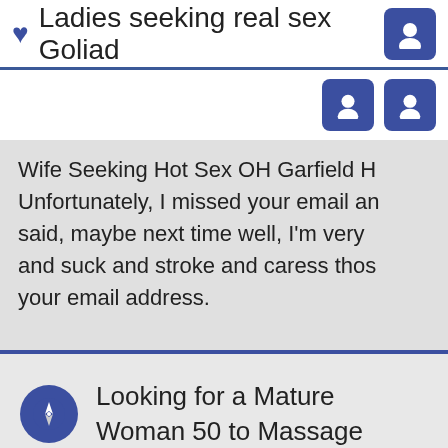Ladies seeking real sex Goliad
Wife Seeking Hot Sex OH Garfield H Unfortunately, I missed your email and said, maybe next time well, I'm very and suck and stroke and caress those your email address.
Looking for a Mature Woman 50 to Massage